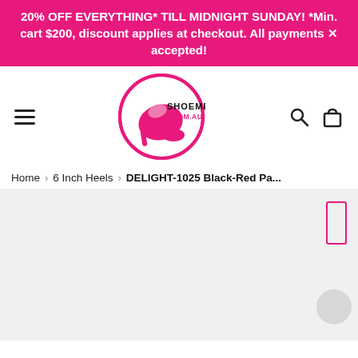20% OFF EVERYTHING* TILL MIDNIGHT SUNDAY! *Min. cart $200, discount applies at checkout. All payments X accepted!
[Figure (logo): ShoeMe.com.au logo — a pink high-heel shoe inside a pink circle with SHOEME .COM.AU text]
Home › 6 Inch Heels › DELIGHT-1025 Black-Red Pa...
[Figure (photo): Light grey product image area with a small pink rectangle thumbnail indicator on the right and a grey circle in the bottom-right corner]